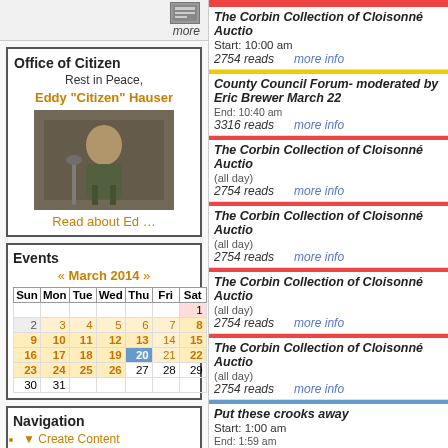more
Office of Citizen
Rest in Peace,
Eddy "Citizen" Hauser
[Figure (photo): Photo of Eddy Hauser speaking at a microphone]
Read about Ed ...
Events
« March 2014 »
| Sun | Mon | Tue | Wed | Thu | Fri | Sat |
| --- | --- | --- | --- | --- | --- | --- |
|  |  |  |  |  |  | 1 |
| 2 | 3 | 4 | 5 | 6 | 7 | 8 |
| 9 | 10 | 11 | 12 | 13 | 14 | 15 |
| 16 | 17 | 18 | 19 | 20 | 21 | 22 |
| 23 | 24 | 25 | 26 | 27 | 28 | 29 |
| 30 | 31 |  |  |  |  |  |
Navigation
Create Content
more...
Recent posts
The Corbin Collection of Cloisonné Auctiо Start: 10:00 am 2754 reads more info
County Council Forum- moderated by Eric Brewer March 22 End: 10:40 am 3316 reads more info
The Corbin Collection of Cloisonné Auctio (all day) 2754 reads more info
The Corbin Collection of Cloisonné Auctio (all day) 2754 reads more info
The Corbin Collection of Cloisonné Auctio (all day) 2754 reads more info
The Corbin Collection of Cloisonné Auctio (all day) 2754 reads more info
Put these crooks away Start: 1:00 am End: 1:59 am 3960 reads more info
The Corbin Collection of Cloisonné